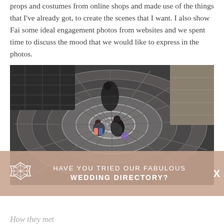props and costumes from online shops and made use of the things that I've already got, to create the scenes that I want. I also show Fai some ideal engagement photos from websites and we spent time to discuss the mood that we would like to express in the photos.
[Figure (photo): Aerial top-down view of a spiral staircase with two people visible at the bottom center of the spiral, shot from directly above showing the circular structure of the stairs.]
HAVE YOU TRIED OUR FABULOUS WEDDING DIRECTORY?
How they met